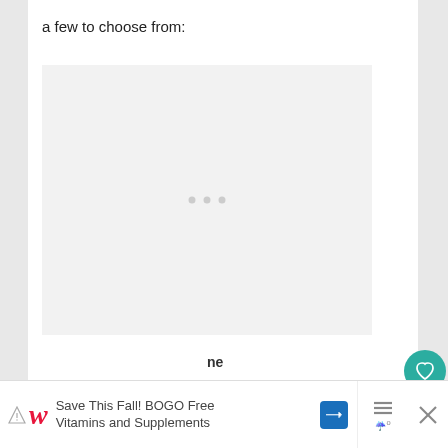a few to choose from:
[Figure (other): Large loading placeholder box with three grey dots in the center, indicating an image is loading.]
[Figure (other): Teal circular favorite/heart button on the right side.]
[Figure (other): White circular share button with a share icon on the right side.]
ne
Save This Fall! BOGO Free Vitamins and Supplements — Walgreens advertisement with navigation icon and close button.